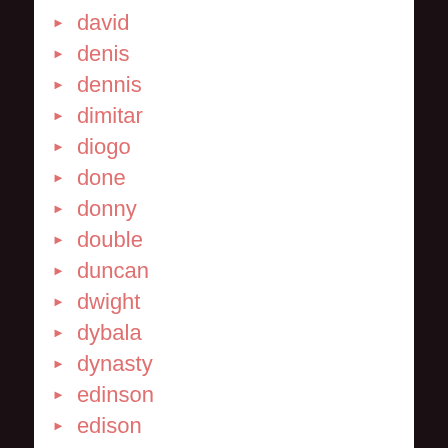david
denis
dennis
dimitar
diogo
done
donny
double
duncan
dwight
dybala
dynasty
edinson
edison
edwin